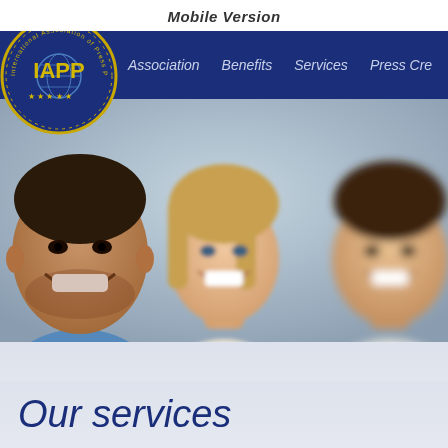Mobile Version
[Figure (screenshot): IAPP website screenshot showing the International Association of Press Photographers logo/badge (circular badge with globe and stars, gold text IAPP), a dark blue navigation bar with italic menu items: Association, Benefits, Services, Press Cre..., and a hero banner image with three smiling people (man in blue shirt on the left, woman in center, man on right), background is gray/blue.]
Our services